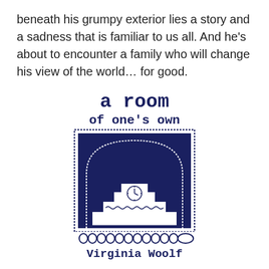beneath his grumpy exterior lies a story and a sadness that is familiar to us all. And he's about to encounter a family who will change his view of the world… for good.
[Figure (illustration): Book cover of 'A Room of One's Own' by Virginia Woolf. Dark navy blue arched design with decorative dotted border, featuring a silhouette of a desk/mantelpiece with a clock, and decorative text with the title and author name.]